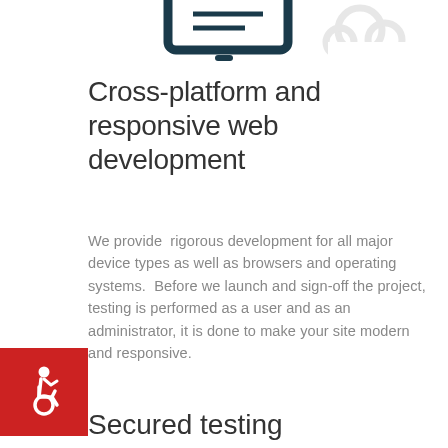[Figure (illustration): Top portion of a tablet/monitor icon outline in dark teal, and a partial cloud icon in light grey, cropped at the top of the page]
Cross-platform and responsive web development
We provide  rigorous development for all major device types as well as browsers and operating systems.  Before we launch and sign-off the project, testing is performed as a user and as an administrator, it is done to make your site modern and responsive.
[Figure (illustration): Red square icon with white wheelchair accessibility symbol]
Secured testing